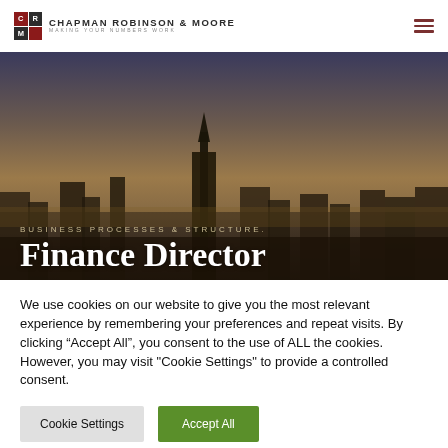[Figure (logo): Chapman Robinson & Moore logo with CRM grid icon and company name]
[Figure (photo): Aerial cityscape at dusk with urban skyline, warm golden-brown tones, showing rooftops and a spire]
BUSINESS PROCESSES & STRUCTURE.
Finance Director
We use cookies on our website to give you the most relevant experience by remembering your preferences and repeat visits. By clicking “Accept All”, you consent to the use of ALL the cookies. However, you may visit "Cookie Settings" to provide a controlled consent.
Cookie Settings | Accept All